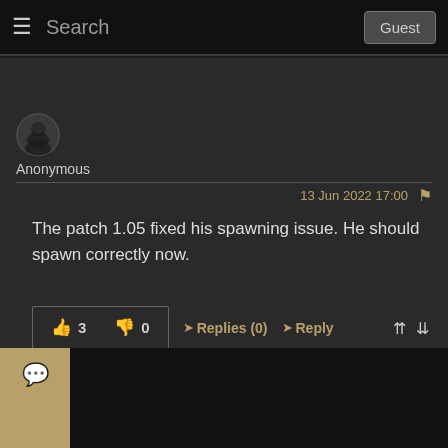Search | Guest
[Figure (illustration): Anonymous user avatar - dark circular icon with hooded figure silhouette]
Anonymous
13 Jun 2022 17:00
The patch 1.05 fixed his spawning issue. He should spawn correctly now.
👍 3   👎 0   ➤ Replies (0)   ➤ Reply